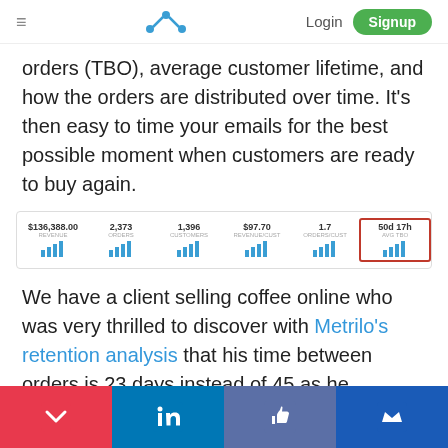Metrilo — Login | Signup
orders (TBO), average customer lifetime, and how the orders are distributed over time. It's then easy to time your emails for the best possible moment when customers are ready to buy again.
[Figure (screenshot): Dashboard metrics row showing: $136,388.00 REVENUE, 2,373 ORDERS, 1,396 CUSTOMERS, $97.70 REVENUE/CUST, 1.7 ORDERS/CUST, and 50d 17h AVG TBO (highlighted in red border). Each metric has a small blue bar chart icon below it.]
We have a client selling coffee online who was very thrilled to discover with Metrilo's retention analysis that his time between orders is 23 days instead of 45 as he thought!